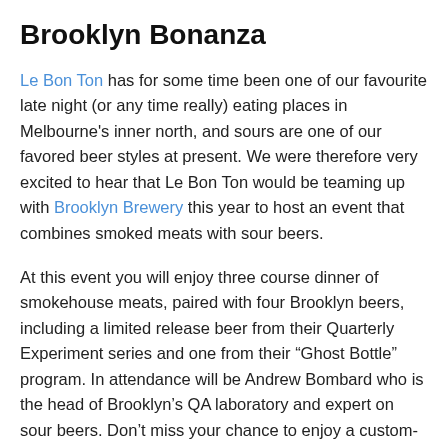Brooklyn Bonanza
Le Bon Ton has for some time been one of our favourite late night (or any time really) eating places in Melbourne’s inner north, and sours are one of our favored beer styles at present. We were therefore very excited to hear that Le Bon Ton would be teaming up with Brooklyn Brewery this year to host an event that combines smoked meats with sour beers.
At this event you will enjoy three course dinner of smokehouse meats, paired with four Brooklyn beers, including a limited release beer from their Quarterly Experiment series and one from their “Ghost Bottle” program. In attendance will be Andrew Bombard who is the head of Brooklyn’s QA laboratory and expert on sour beers. Don’t miss your chance to enjoy a custom-designed menu and some very rare beers!